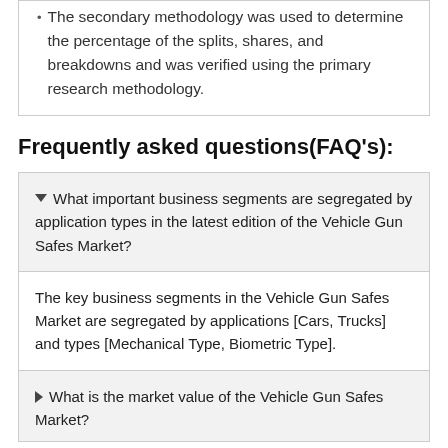The secondary methodology was used to determine the percentage of the splits, shares, and breakdowns and was verified using the primary research methodology.
Frequently asked questions(FAQ's):
What important business segments are segregated by application types in the latest edition of the Vehicle Gun Safes Market?
The key business segments in the Vehicle Gun Safes Market are segregated by applications [Cars, Trucks] and types [Mechanical Type, Biometric Type].
What is the market value of the Vehicle Gun Safes Market?